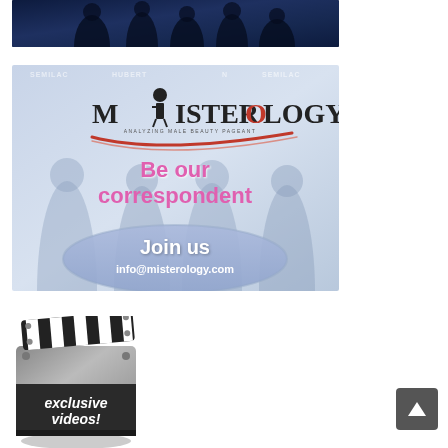[Figure (photo): Group photo of several people against a dark blue background, partially visible at top of page]
[Figure (infographic): Misterology advertisement banner with logo, 'Be our correspondent' text in pink, and 'Join us / info@misterology.com' in a blue oval, with men in tuxedos in background]
[Figure (photo): Movie clapper/slate icon with black and white stripes on top, and text 'exclusive videos!' on dark panel below]